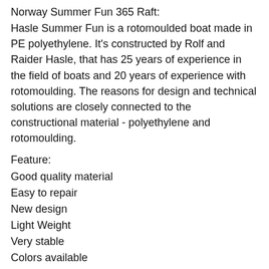Norway Summer Fun 365 Raft:
Hasle Summer Fun is a rotomoulded boat made in PE polyethylene. It's constructed by Rolf and Raider Hasle, that has 25 years of experience in the field of boats and 20 years of experience with rotomoulding. The reasons for design and technical solutions are closely connected to the constructional material - polyethylene and rotomoulding.
Feature:
Good quality material
Easy to repair
New design
Light Weight
Very stable
Colors available
Top quality with competitive price
Good deliveries and services